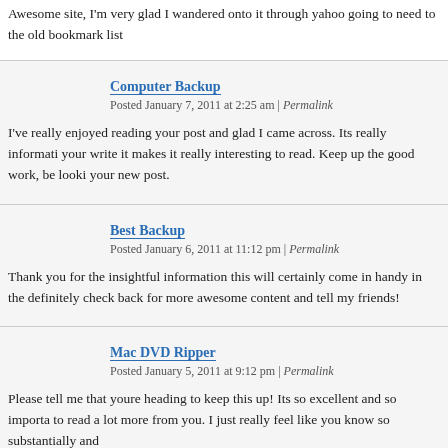Awesome site, I'm very glad I wandered onto it through yahoo going to need to the old bookmark list
Computer Backup
Posted January 7, 2011 at 2:25 am | Permalink
I've really enjoyed reading your post and glad I came across. Its really informati your write it makes it really interesting to read. Keep up the good work, be looki your new post.
Best Backup
Posted January 6, 2011 at 11:12 pm | Permalink
Thank you for the insightful information this will certainly come in handy in the definitely check back for more awesome content and tell my friends!
Mac DVD Ripper
Posted January 5, 2011 at 9:12 pm | Permalink
Please tell me that youre heading to keep this up! Its so excellent and so importa to read a lot more from you. I just really feel like you know so substantially and